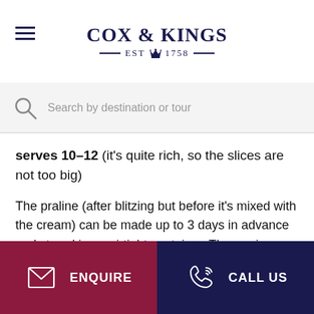COX & KINGS — EST 1758 —
Search by destination or tour
serves 10–12 (it's quite rich, so the slices are not too big)
The praline (after blitzing but before it's mixed with the cream) can be made up to 3 days in advance and stored in an airtight container. The meringues need to be made in advance – they take 3 hours to cook, 2 hours to cool in the oven, and another 2 hours to set, so you're forced to get ahead by at
ENQUIRE   CALL US